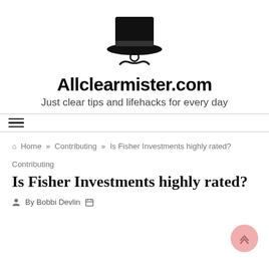[Figure (logo): Top hat with monocle and mustache logo icon for Allclearmister.com]
Allclearmister.com
Just clear tips and lifehacks for every day
breadcrumb navigation: Home » Contributing » Is Fisher Investments highly rated?
Contributing
Is Fisher Investments highly rated?
By Bobbi Devlin